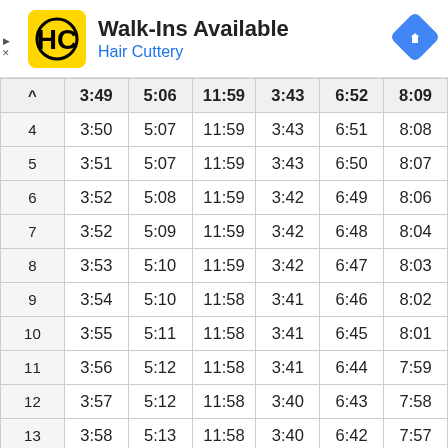[Figure (logo): Hair Cuttery advertisement banner with yellow HC logo, 'Walk-Ins Available' title, 'Hair Cuttery' subtitle in blue, and a blue navigation arrow icon on the right.]
| ^ | 3:49 | 5:06 | 11:59 | 3:43 | 6:52 | 8:09 |
| --- | --- | --- | --- | --- | --- | --- |
| 4 | 3:50 | 5:07 | 11:59 | 3:43 | 6:51 | 8:08 |
| 5 | 3:51 | 5:07 | 11:59 | 3:43 | 6:50 | 8:07 |
| 6 | 3:52 | 5:08 | 11:59 | 3:42 | 6:49 | 8:06 |
| 7 | 3:52 | 5:09 | 11:59 | 3:42 | 6:48 | 8:04 |
| 8 | 3:53 | 5:10 | 11:59 | 3:42 | 6:47 | 8:03 |
| 9 | 3:54 | 5:10 | 11:58 | 3:41 | 6:46 | 8:02 |
| 10 | 3:55 | 5:11 | 11:58 | 3:41 | 6:45 | 8:01 |
| 11 | 3:56 | 5:12 | 11:58 | 3:41 | 6:44 | 7:59 |
| 12 | 3:57 | 5:12 | 11:58 | 3:40 | 6:43 | 7:58 |
| 13 | 3:58 | 5:13 | 11:58 | 3:40 | 6:42 | 7:57 |
| 14 | 3:59 | 5:14 | 11:58 | 3:40 | 6:41 | 7:55 |
| 15 | 4:00 | 5:15 | 11:57 | 3:39 | 6:40 | 7:54 |